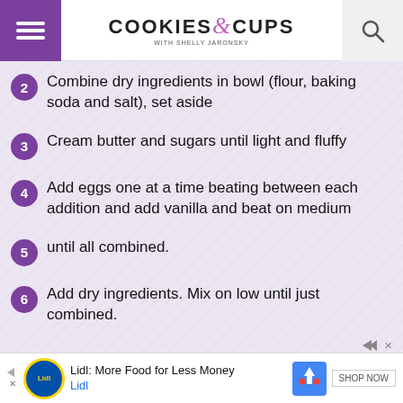Cookies & Cups - with Shelly Jaronsky
2 Combine dry ingredients in bowl (flour, baking soda and salt), set aside
3 Cream butter and sugars until light and fluffy
4 Add eggs one at a time beating between each addition and add vanilla and beat on medium
5 until all combined.
6 Add dry ingredients. Mix on low until just combined.
[Figure (screenshot): Advertisement banner with pink background showing 'TOP BRANDS & UNIQUE FINDS']
Lidl: More Food for Less Money - Lidl | SHOP NOW